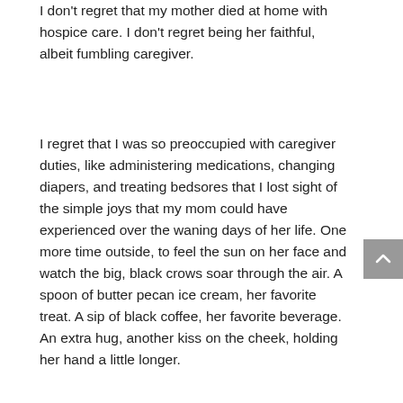I don't regret that my mother died at home with hospice care. I don't regret being her faithful, albeit fumbling caregiver.
I regret that I was so preoccupied with caregiver duties, like administering medications, changing diapers, and treating bedsores that I lost sight of the simple joys that my mom could have experienced over the waning days of her life. One more time outside, to feel the sun on her face and watch the big, black crows soar through the air. A spoon of butter pecan ice cream, her favorite treat. A sip of black coffee, her favorite beverage. An extra hug, another kiss on the cheek, holding her hand a little longer.